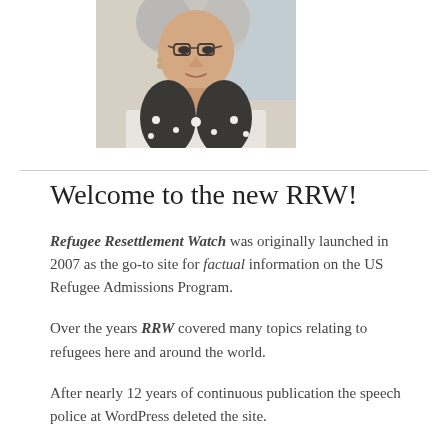[Figure (photo): Portrait photo of an older woman with gray hair and glasses, wearing a black and white patterned top, smiling]
Welcome to the new RRW!
Refugee Resettlement Watch was originally launched in 2007 as the go-to site for factual information on the US Refugee Admissions Program.
Over the years RRW covered many topics relating to refugees here and around the world.
After nearly 12 years of continuous publication the speech police at WordPress deleted the site.